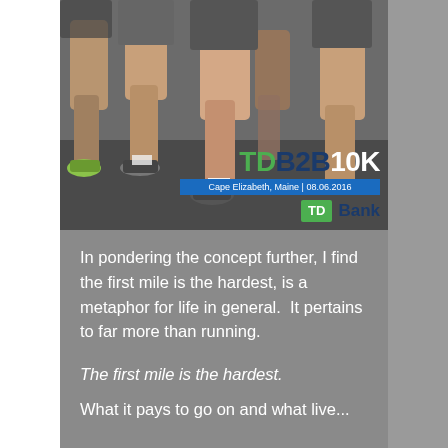[Figure (photo): Close-up photo of runners' legs during a race, wearing athletic shoes and shorts on a road surface. Overlaid with TD B2B 10K event branding, date 'Cape Elizabeth, Maine | 08.06.2016', and TD Bank logo.]
In pondering the concept further, I find the first mile is the hardest, is a metaphor for life in general.  It pertains to far more than running.
The first mile is the hardest.
What it pays to go on and what live...